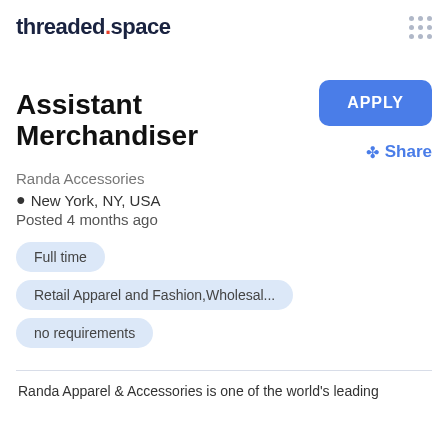threaded.space
Assistant Merchandiser
Randa Accessories
New York, NY, USA
Posted 4 months ago
Full time
Retail Apparel and Fashion,Wholesal...
no requirements
Randa Apparel & Accessories is one of the world's leading